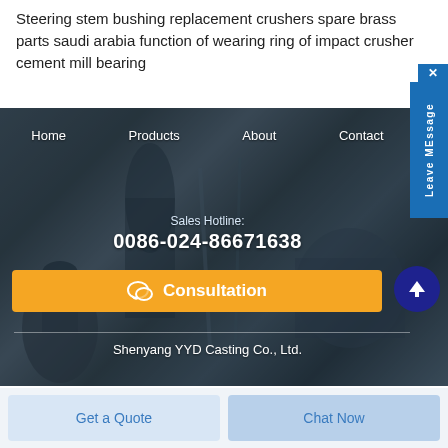Steering stem bushing replacement crushers spare brass parts saudi arabia function of wearing ring of impact crusher cement mill bearing
[Figure (screenshot): Dark industrial/mechanical background photo with metal machine parts, showing navigation menu (Home, Products, About, Contact), Sales Hotline number 0086-024-86671638, orange Consultation button, up-arrow circle button, divider line, and company name Shenyang YYD Casting Co., Ltd.]
Home  Products  About  Contact
Sales Hotline:
0086-024-86671638
Consultation
Shenyang YYD Casting Co., Ltd.
Get a Quote
Chat Now